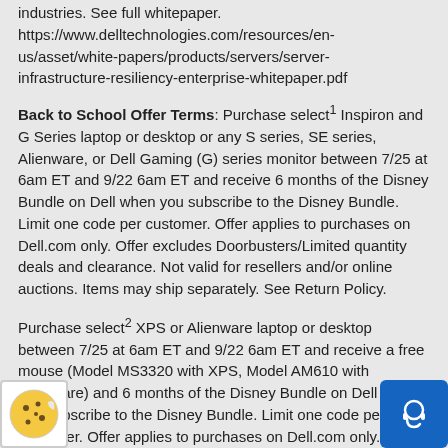industries. See full whitepaper. https://www.delltechnologies.com/resources/en-us/asset/white-papers/products/servers/server-infrastructure-resiliency-enterprise-whitepaper.pdf
Back to School Offer Terms: Purchase select¹ Inspiron and G Series laptop or desktop or any S series, SE series, Alienware, or Dell Gaming (G) series monitor between 7/25 at 6am ET and 9/22 6am ET and receive 6 months of the Disney Bundle on Dell when you subscribe to the Disney Bundle. Limit one code per customer. Offer applies to purchases on Dell.com only. Offer excludes Doorbusters/Limited quantity deals and clearance. Not valid for resellers and/or online auctions. Items may ship separately. See Return Policy.
Purchase select² XPS or Alienware laptop or desktop between 7/25 at 6am ET and 9/22 6am ET and receive a free mouse (Model MS3320 with XPS, Model AM610 with Alienware) and 6 months of the Disney Bundle on Dell when you subscribe to the Disney Bundle. Limit one code per customer. Offer applies to purchases on Dell.com only. 1 year of Premium Support Plus or Pro Support Plus also